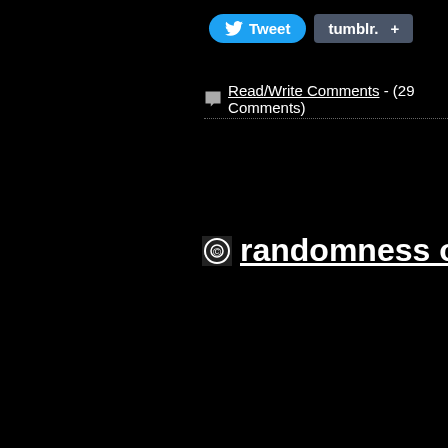[Figure (screenshot): Screenshot of a webpage with black background showing social sharing buttons (Tweet and Tumblr+), a Read/Write Comments link with 29 comments, a dotted divider, and a partially visible link reading 'randomness of the roa']
Tweet
tumblr. +
Read/Write Comments - (29 Comments)
randomness of the roa